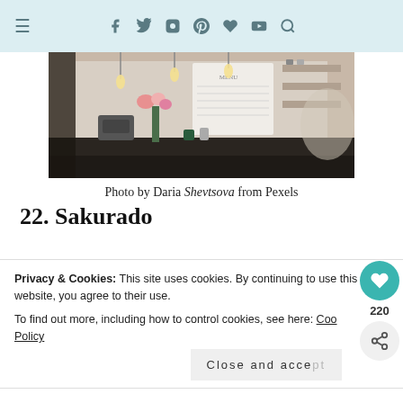≡ f y 🎵 📌 ♥ ▶ 🔍
[Figure (photo): Interior of a cafe with pendant Edison bulb lights hanging from the ceiling, a counter with espresso equipment, flowers in a vase, shelving with products, and a menu board on the wall.]
Photo by Daria Shevtsova from Pexels
22. Sakurado
Privacy & Cookies: This site uses cookies. By continuing to use this website, you agree to their use.
To find out more, including how to control cookies, see here: Cookie Policy
Close and accept
30 mille crepes carefully layered